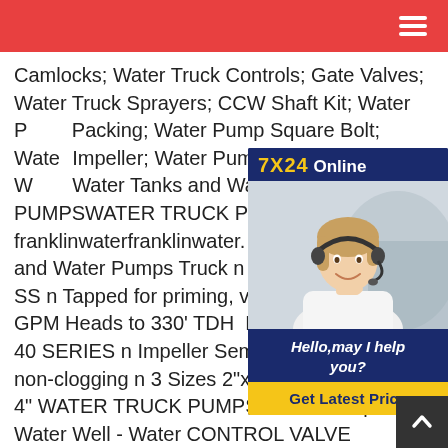Navigation bar with hamburger menu
Camlocks; Water Truck Controls; Gate Valves; Water Truck Sprayers; CCW Shaft Kit; Water Pump Packing; Water Pump Square Bolt; Water Impeller; Water Pump Volute Gasket Water Tanks and Water Pumps Truck PUMPSWATER TRUCK PUMPS franklinwaterfranklinwater. 2 Water Truck Tanks and Water Pumps Truck n All welded are 316 SS n Tapped for priming, venting Flows to 4000 GPM Heads to 330' TDH PRIMING FMIT 20-40 SERIES n Impeller Semi-open cast iron, non-clogging n 3 Sizes 2"x 2", 3"x 3", and 4"x 4" WATER TRUCK PUMPS Water Pumps - Water Well - Water CONTROL VALVE ADAPTERS. B59538 St Water Truck Pumps . $3,649.00 $2,529.00. B59539
[Figure (illustration): Customer service agent chat widget with '7X24 Online' header, photo of smiling woman with headset, 'Hello, may I help you?' text, and 'Get Latest Price' button]